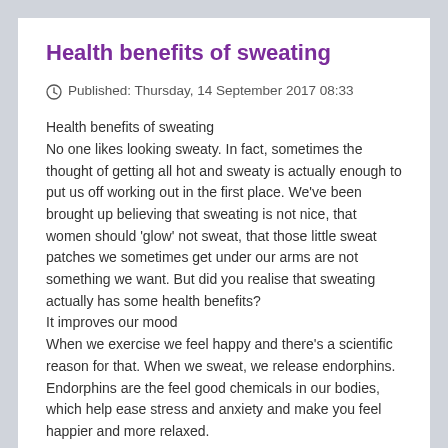Health benefits of sweating
Published: Thursday, 14 September 2017 08:33
Health benefits of sweating
No one likes looking sweaty. In fact, sometimes the thought of getting all hot and sweaty is actually enough to put us off working out in the first place. We’ve been brought up believing that sweating is not nice, that women should ‘glow’ not sweat, that those little sweat patches we sometimes get under our arms are not something we want. But did you realise that sweating actually has some health benefits?
It improves our mood
When we exercise we feel happy and there’s a scientific reason for that. When we sweat, we release endorphins. Endorphins are the feel good chemicals in our bodies, which help ease stress and anxiety and make you feel happier and more relaxed.